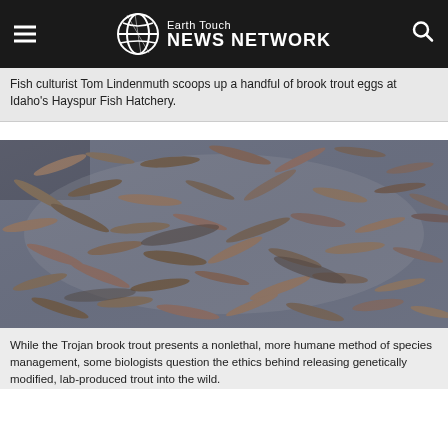Earth Touch NEWS NETWORK
Fish culturist Tom Lindenmuth scoops up a handful of brook trout eggs at Idaho's Hayspur Fish Hatchery.
[Figure (photo): Overhead view of a fish hatchery tank filled with dozens of small brook trout fingerlings in shallow water.]
While the Trojan brook trout presents a nonlethal, more humane method of species management, some biologists question the ethics behind releasing genetically modified, lab-produced trout into the wild.